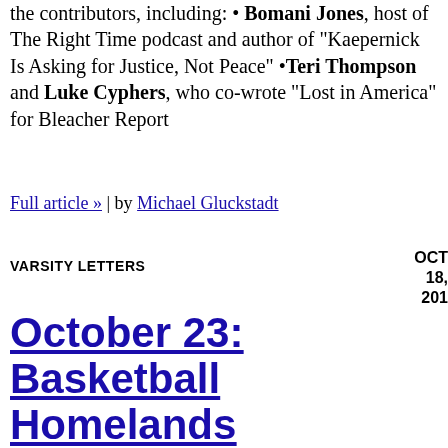the contributors, including: • Bomani Jones, host of The Right Time podcast and author of "Kaepernick Is Asking for Justice, Not Peace" •Teri Thompson and Luke Cyphers, who co-wrote "Lost in America" for Bleacher Report
Full article » | by Michael Gluckstadt
VARSITY LETTERS
OCT 18, 2016
October 23: Basketball Homelands